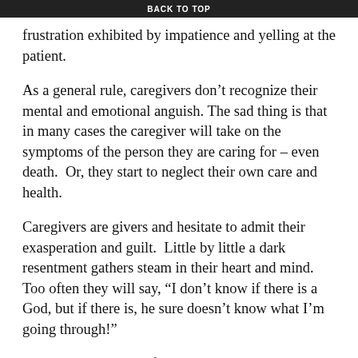BACK TO TOP
frustration exhibited by impatience and yelling at the patient.
As a general rule, caregivers don’t recognize their mental and emotional anguish. The sad thing is that in many cases the caregiver will take on the symptoms of the person they are caring for – even death.  Or, they start to neglect their own care and health.
Caregivers are givers and hesitate to admit their exasperation and guilt.  Little by little a dark resentment gathers steam in their heart and mind.  Too often they will say, “I don’t know if there is a God, but if there is, he sure doesn’t know what I’m going through!”
To caregivers I say, “if you really, really want to, you could find a way to take a day or two off –